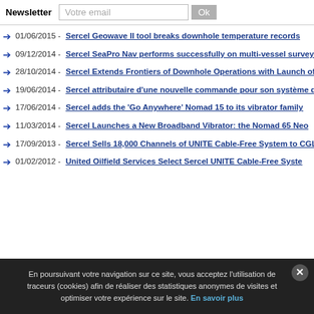Newsletter | Votre email | Ok
01/06/2015 - Sercel Geowave II tool breaks downhole temperature records
09/12/2014 - Sercel SeaPro Nav performs successfully on multi-vessel surveys
28/10/2014 - Sercel Extends Frontiers of Downhole Operations with Launch of GeoWave II
19/06/2014 - Sercel attributaire d'une nouvelle commande pour son système d'acquisition 508
17/06/2014 - Sercel adds the 'Go Anywhere' Nomad 15 to its vibrator family
11/03/2014 - Sercel Launches a New Broadband Vibrator: the Nomad 65 Neo
17/09/2013 - Sercel Sells 18,000 Channels of UNITE Cable-Free System to CGL
01/02/2012 - United Oilfield Services Select Sercel UNITE Cable-Free Syste
En poursuivant votre navigation sur ce site, vous acceptez l'utilisation de traceurs (cookies) afin de réaliser des statistiques anonymes de visites et optimiser votre expérience sur le site. En savoir plus